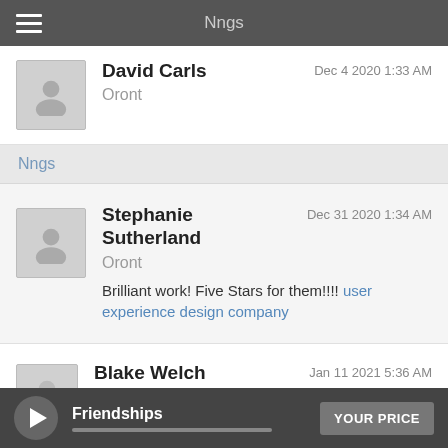Nngs
David Carls — Dec 4 2020 1:33 AM — Oront
Nngs
Stephanie Sutherland — Dec 31 2020 1:34 AM — Oront — Brilliant work! Five Stars for them!!!! user experience design company
Blake Welch — Jan 11 2021 5:36 AM
Friendships — YOUR PRICE